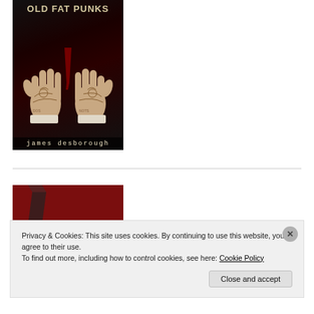[Figure (illustration): Book cover for 'Old Fat Punks' by James Desborough: dark background with tattooed hands and mixed-up lettering title at top, author name at bottom in mixed fonts]
[Figure (illustration): Partial book cover for 'Pulp Nova': dark red/maroon background with white uppercase text reading PULP NOVA]
Privacy & Cookies: This site uses cookies. By continuing to use this website, you agree to their use.
To find out more, including how to control cookies, see here: Cookie Policy
Close and accept